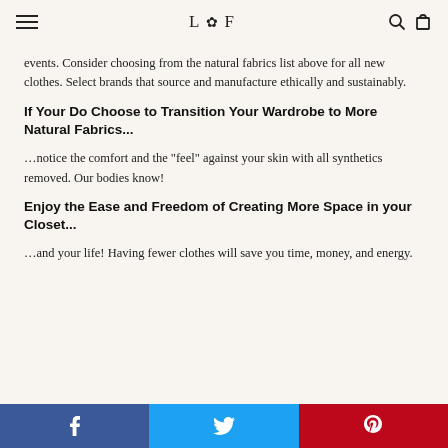L F
events. Consider choosing from the natural fabrics list above for all new clothes. Select brands that source and manufacture ethically and sustainably.
If Your Do Choose to Transition Your Wardrobe to More Natural Fabrics...
...notice the comfort and the “feel” against your skin with all synthetics removed. Our bodies know!
Enjoy the Ease and Freedom of Creating More Space in your Closet...
...and your life! Having fewer clothes will save you time, money, and energy.
Social share bar: Facebook, Twitter, Pinterest